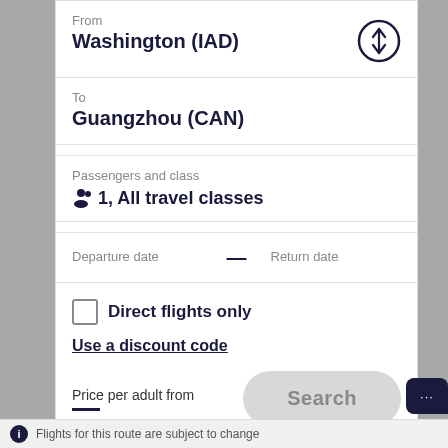From
Washington (IAD)
To
Guangzhou (CAN)
Passengers and class
1, All travel classes
Departure date — Return date
Direct flights only
Use a discount code
Price per adult from
Search
Flights for this route are subject to change